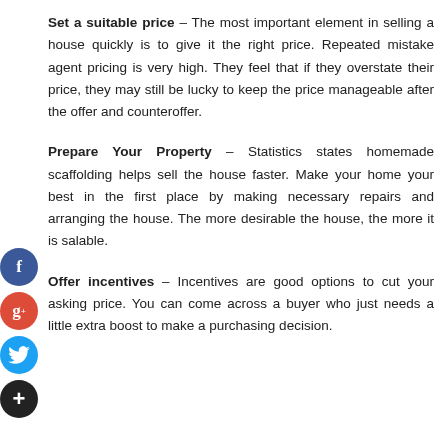Set a suitable price – The most important element in selling a house quickly is to give it the right price. Repeated mistake agent pricing is very high. They feel that if they overstate their price, they may still be lucky to keep the price manageable after the offer and counteroffer.
Prepare Your Property – Statistics states homemade scaffolding helps sell the house faster. Make your home your best in the first place by making necessary repairs and arranging the house. The more desirable the house, the more it is salable.
Offer incentives – Incentives are good options to cut your asking price. You can come across a buyer who just needs a little extra boost to make a purchasing decision.